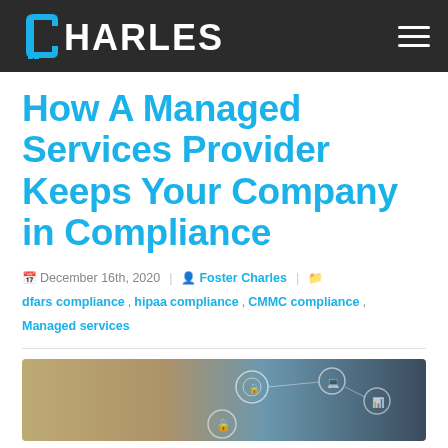CHARLES (logo navigation bar)
How A Managed Services Provider Keeps Your Company in Compliance
December 16th, 2020  Foster Charles  dfars compliance, hipaa compliance, CMMC compliance, Managed services
[Figure (photo): Technology/cybersecurity themed image showing digital icons and network connections on a blurred background with warm and cool tones.]